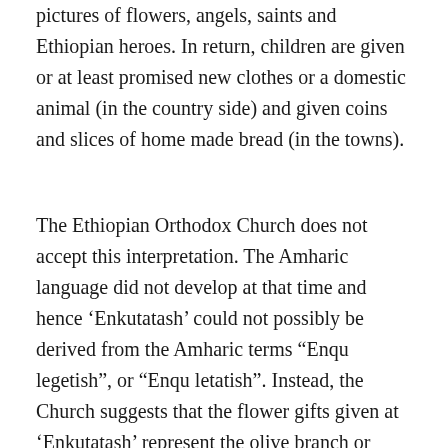pictures of flowers, angels, saints and Ethiopian heroes. In return, children are given or at least promised new clothes or a domestic animal (in the country side) and given coins and slices of home made bread (in the towns).
The Ethiopian Orthodox Church does not accept this interpretation. The Amharic language did not develop at that time and hence ‘Enkutatash’ could not possibly be derived from the Amharic terms “Enqu legetish”, or “Enqu letatish”. Instead, the Church suggests that the flower gifts given at ‘Enkutatash’ represent the olive branch or kietema(wet green grass) that Noah’s dove brought to him to show the receding of the flood waters